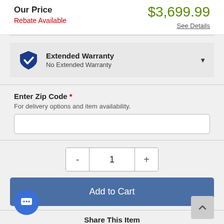Our Price
$3,699.99
Rebate Available
See Details
Extended Warranty
No Extended Warranty
Enter Zip Code *
For delivery options and item availability.
1
Add to Cart
Share This Item